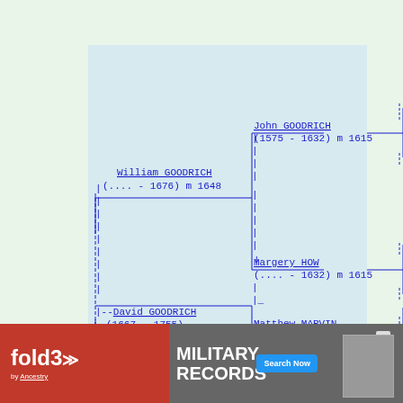[Figure (organizational-chart): Genealogy pedigree chart showing ancestors of David GOODRICH (1667-1755). Parents: William GOODRICH (....–1676) m 1648. Paternal grandparents: John GOODRICH (1575–1632) m 1615 and Margery HOW (....–1632) m 1615. Mother's side: Matthew MARVIN (....–1680) m 1622 and Sarah MARVIN (partially visible).]
[Figure (infographic): Advertisement banner for fold3 Military Records by Ancestry. Red and grey background with Search Now button and soldier photo.]